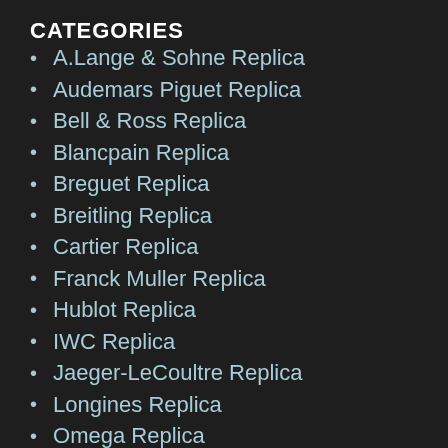CATEGORIES
A.Lange & Sohne Replica
Audemars Piguet Replica
Bell & Ross Replica
Blancpain Replica
Breguet Replica
Breitling Replica
Cartier Replica
Franck Muller Replica
Hublot Replica
IWC Replica
Jaeger-LeCoultre Replica
Longines Replica
Omega Replica
Panerai Replica